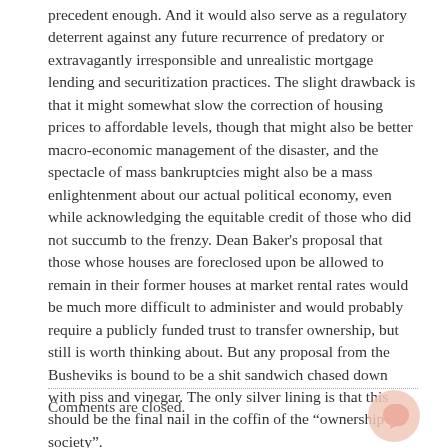precedent enough. And it would also serve as a regulatory deterrent against any future recurrence of predatory or extravagantly irresponsible and unrealistic mortgage lending and securitization practices. The slight drawback is that it might somewhat slow the correction of housing prices to affordable levels, though that might also be better macro-economic management of the disaster, and the spectacle of mass bankruptcies might also be a mass enlightenment about our actual political economy, even while acknowledging the equitable credit of those who did not succumb to the frenzy. Dean Baker's proposal that those whose houses are foreclosed upon be allowed to remain in their former houses at market rental rates would be much more difficult to administer and would probably require a publicly funded trust to transfer ownership, but still is worth thinking about. But any proposal from the Busheviks is bound to be a shit sandwich chased down with piss and vinegar. The only silver lining is that this should be the final nail in the coffin of the “ownership society”.
Comments are closed.